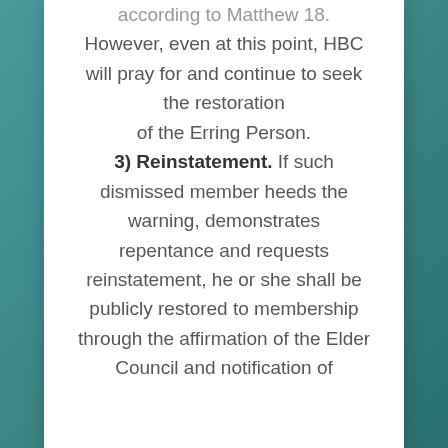according to Matthew 18. However, even at this point, HBC will pray for and continue to seek the restoration of the Erring Person. 3) Reinstatement. If such dismissed member heeds the warning, demonstrates repentance and requests reinstatement, he or she shall be publicly restored to membership through the affirmation of the Elder Council and notification of